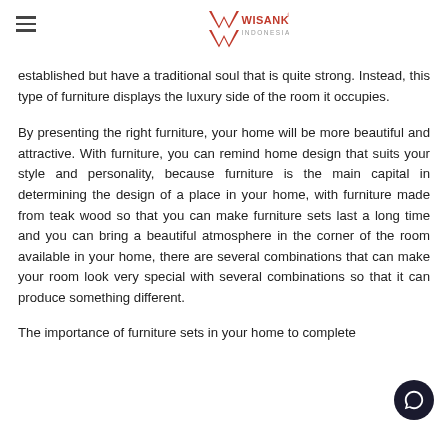Wisanka Indonesia logo and navigation
Mahesa Wooden Stand Classic themed furniture is currently very loved. They are already well-established but have a traditional soul that is quite strong. Instead, this type of furniture displays the luxury side of the room it occupies.
By presenting the right furniture, your home will be more beautiful and attractive. With furniture, you can remind home design that suits your style and personality, because furniture is the main capital in determining the design of a place in your home, with furniture made from teak wood so that you can make furniture sets last a long time and you can bring a beautiful atmosphere in the corner of the room available in your home, there are several combinations that can make your room look very special with several combinations so that it can produce something different.
The importance of furniture sets in your home to complete